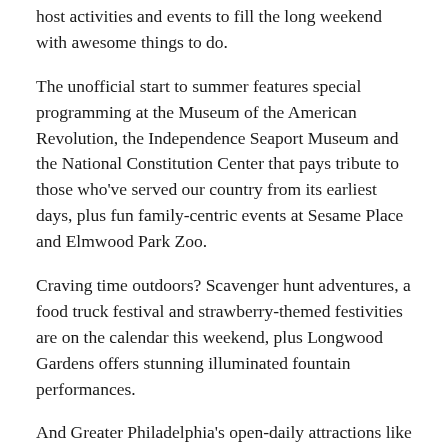host activities and events to fill the long weekend with awesome things to do.
The unofficial start to summer features special programming at the Museum of the American Revolution, the Independence Seaport Museum and the National Constitution Center that pays tribute to those who've served our country from its earliest days, plus fun family-centric events at Sesame Place and Elmwood Park Zoo.
Craving time outdoors? Scavenger hunt adventures, a food truck festival and strawberry-themed festivities are on the calendar this weekend, plus Longwood Gardens offers stunning illuminated fountain performances.
And Greater Philadelphia's open-daily attractions like Blue Cross RiverRink Summerfest, the Rothman Orthopaedics Roller Rink at Dilworth Park and Parks on Tap welcome visitors all weekend long.
No matter how you're spending Memorial Day, this spring, every weekend is something to celebrate. Make it awesome